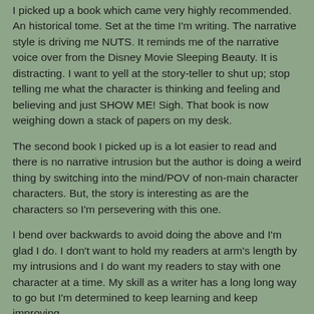I picked up a book which came very highly recommended. An historical tome. Set at the time I'm writing. The narrative style is driving me NUTS. It reminds me of the narrative voice over from the Disney Movie Sleeping Beauty. It is distracting. I want to yell at the story-teller to shut up; stop telling me what the character is thinking and feeling and believing and just SHOW ME! Sigh. That book is now weighing down a stack of papers on my desk.
The second book I picked up is a lot easier to read and there is no narrative intrusion but the author is doing a weird thing by switching into the mind/POV of non-main character characters. But, the story is interesting as are the characters so I'm persevering with this one.
I bend over backwards to avoid doing the above and I'm glad I do. I don't want to hold my readers at arm's length by my intrusions and I do want my readers to stay with one character at a time. My skill as a writer has a long long way to go but I'm determined to keep learning and keep improving.
TK Roxborogh at 10:07 PM    No comments: